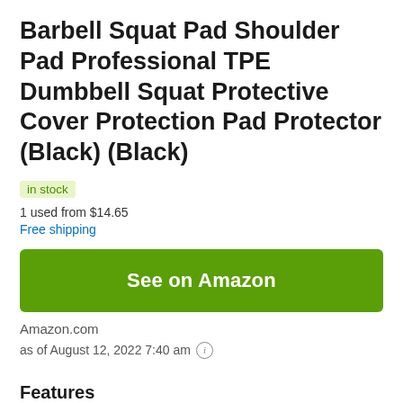Barbell Squat Pad Shoulder Pad Professional TPE Dumbbell Squat Protective Cover Protection Pad Protector (Black) (Black)
in stock
1 used from $14.65
Free shipping
See on Amazon
Amazon.com
as of August 12, 2022 7:40 am
Features
♡ Made of high quality TPE material. Compared to usual plastic barbell pads, the squat pad is more solid and